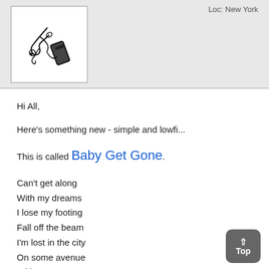[Figure (illustration): Album art thumbnail showing a black and white image of tangled earphones/cables and a small rectangular device on white background]
Loc: New York
Hi All,
Here's something new - simple and lowfi...
This is called Baby Get Gone.
Can't get along
With my dreams
I lose my footing
Fall off the beam
I'm lost in the city
On some avenue
Without a name